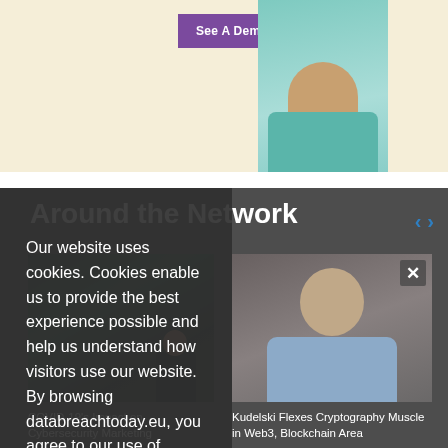[Figure (screenshot): Top banner area with purple 'See A Demo →' button and a person in teal scrubs on a cream background]
Around the Network
[Figure (photo): Dark photo of a woman, left card for COVID-19 Impact on Cybersecurity Marketing article]
COVID-19's Impact on Cybersecurity Marketing
[Figure (photo): Photo of a bald man in a blue shirt, right card for Kudelski article]
Kudelski Flexes Cryptography Muscle in Web3, Blockchain Area
Our website uses cookies. Cookies enable us to provide the best experience possible and help us understand how visitors use our website. By browsing databreachtoday.eu, you agree to our use of cookies.